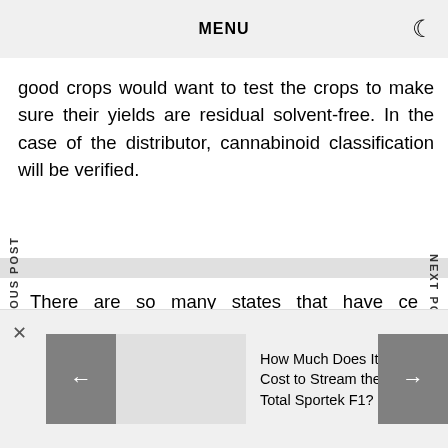MENU
good crops would want to test the crops to make sure their yields are residual solvent-free. In the case of the distributor, cannabinoid classification will be verified.
There are so many states that have certain requirements set while undertaking the testing of cannabis. Suppose while considering pesticides, Colorado needs 13 pesticides to be done while in the case of California the
How Much Does It Cost to Stream the Total Sportek F1?